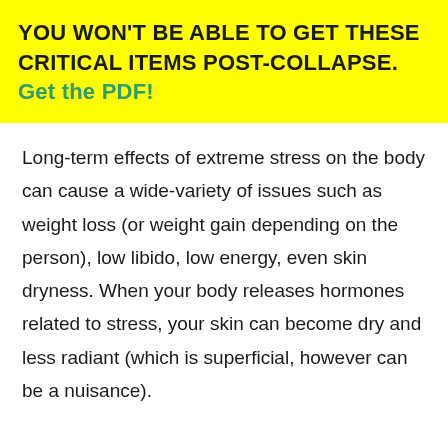YOU WON'T BE ABLE TO GET THESE CRITICAL ITEMS POST-COLLAPSE. Get the PDF!
Long-term effects of extreme stress on the body can cause a wide-variety of issues such as weight loss (or weight gain depending on the person), low libido, low energy, even skin dryness. When your body releases hormones related to stress, your skin can become dry and less radiant (which is superficial, however can be a nuisance).